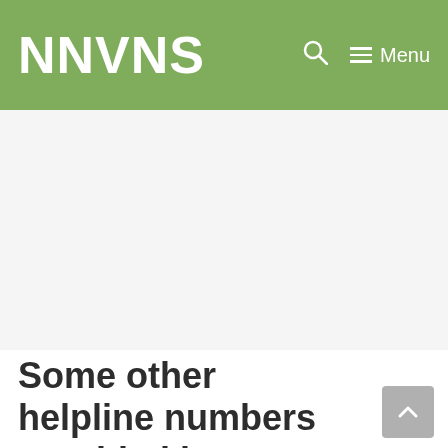NNVNS
[Figure (other): Advertisement/blank area below the navigation header]
Some other helpline numbers provided by Varanasi Nagar Nigam